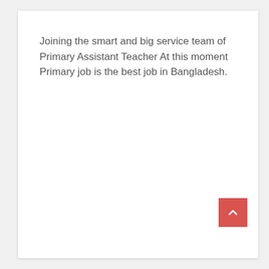Joining the smart and big service team of Primary Assistant Teacher At this moment Primary job is the best job in Bangladesh.